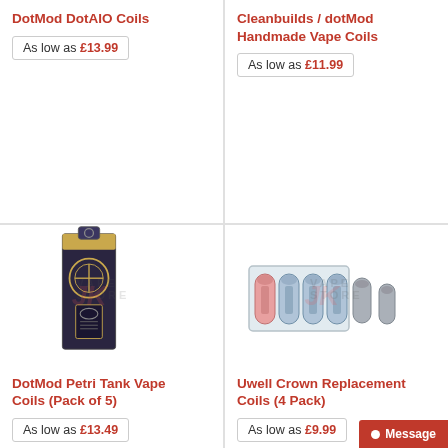DotMod DotAIO Coils
As low as £13.99
Cleanbuilds / dotMod Handmade Vape Coils
As low as £11.99
[Figure (photo): DotMod Petri Tank Vape Coils product box packaging with JK Vape Store watermark]
DotMod Petri Tank Vape Coils (Pack of 5)
As low as £13.49
[Figure (photo): Uwell Crown Replacement Coils 4 Pack in clear plastic packaging with JK Vape Store watermark]
Uwell Crown Replacement Coils (4 Pack)
As low as £9.99